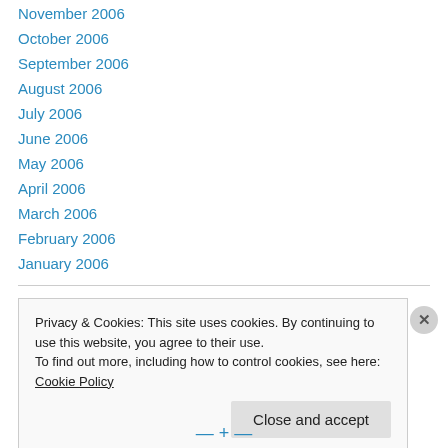November 2006
October 2006
September 2006
August 2006
July 2006
June 2006
May 2006
April 2006
March 2006
February 2006
January 2006
Privacy & Cookies: This site uses cookies. By continuing to use this website, you agree to their use. To find out more, including how to control cookies, see here: Cookie Policy
Close and accept